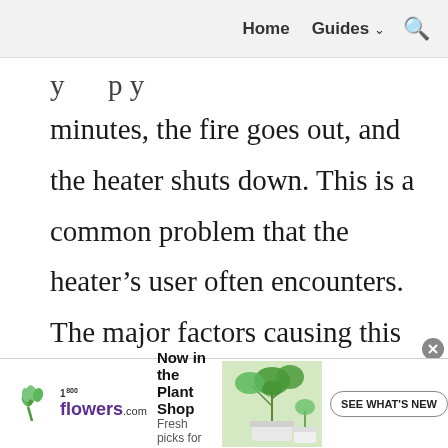Home   Guides ∨   🔍
minutes, the fire goes out, and the heater shuts down. This is a common problem that the heater's user often encounters. The major factors causing this issue and their solutions are the following:
[Figure (other): 1-800flowers.com advertisement banner with plant image and 'Now in the Plant Shop - Fresh picks for summer - SEE WHAT'S NEW' call to action]